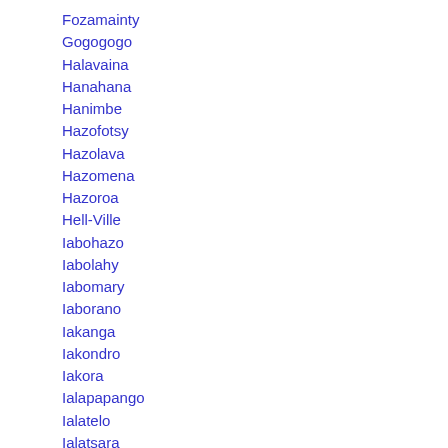Fozamainty
Gogogogo
Halavaina
Hanahana
Hanimbe
Hazofotsy
Hazolava
Hazomena
Hazoroa
Hell-Ville
Iabohazo
Iabolahy
Iabomary
Iaborano
Iakanga
Iakondro
Iakora
Ialapapango
Ialatelo
Ialatsara
Iarivo